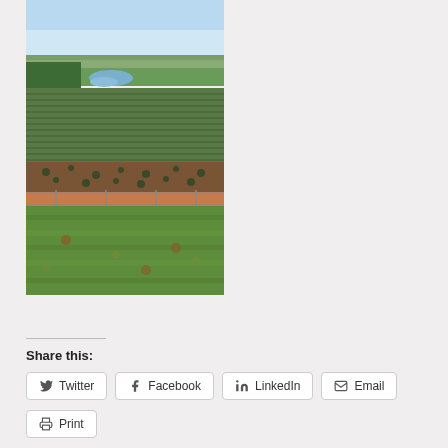[Figure (photo): Aerial/elevated view of a rural agricultural landscape with rows of crops, red/brown soil, green grass in foreground, trees, a small body of water (river or pond), and distant hills under a blue sky.]
Share this:
Twitter  Facebook  LinkedIn  Email  Print